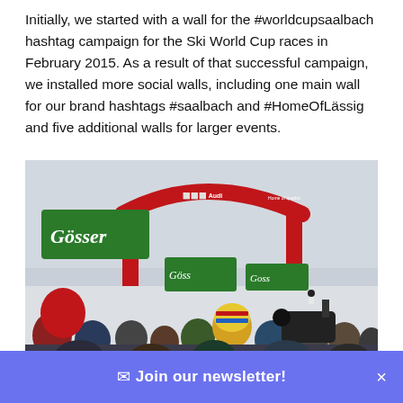Initially, we started with a wall for the #worldcupsaalbach hashtag campaign for the Ski World Cup races in February 2015. As a result of that successful campaign, we installed more social walls, including one main wall for our brand hashtags #saalbach and #HomeOfLässig and five additional walls for larger events.
[Figure (photo): Crowd of spectators at a ski race event. A red Audi arch/finish gate is visible in the background with a skier on the slope. Green Gösser beer flags and banners are waving in the foreground crowd.]
✉ Join our newsletter!